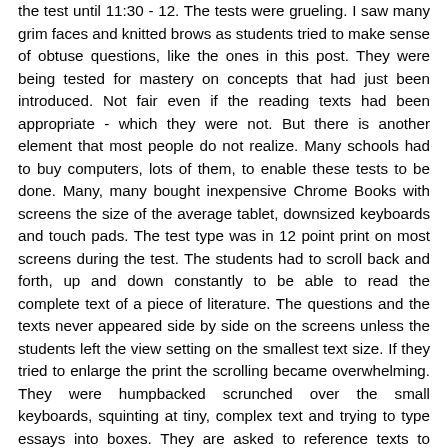the test until 11:30 - 12. The tests were grueling. I saw many grim faces and knitted brows as students tried to make sense of obtuse questions, like the ones in this post. They were being tested for mastery on concepts that had just been introduced. Not fair even if the reading texts had been appropriate - which they were not. But there is another element that most people do not realize. Many schools had to buy computers, lots of them, to enable these tests to be done. Many, many bought inexpensive Chrome Books with screens the size of the average tablet, downsized keyboards and touch pads. The test type was in 12 point print on most screens during the test. The students had to scroll back and forth, up and down constantly to be able to read the complete text of a piece of literature. The questions and the texts never appeared side by side on the screens unless the students left the view setting on the smallest text size. If they tried to enlarge the print the scrolling became overwhelming. They were humpbacked scrunched over the small keyboards, squinting at tiny, complex text and trying to type essays into boxes. They are asked to reference texts to support answers, but they have to scroll to find the text, remember it, scroll again to find the